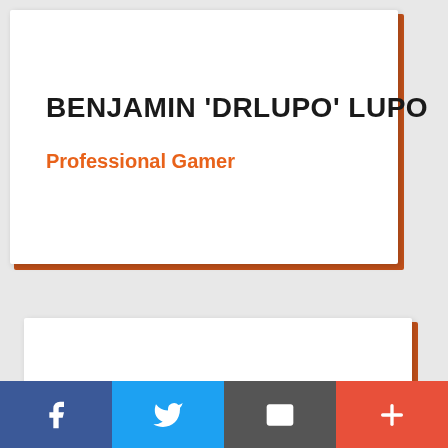BENJAMIN 'DRLUPO' LUPO
Professional Gamer
[Figure (other): White card with orange shadow background, bottom partial white card visible]
Social share bar: Facebook, Twitter, Email, More